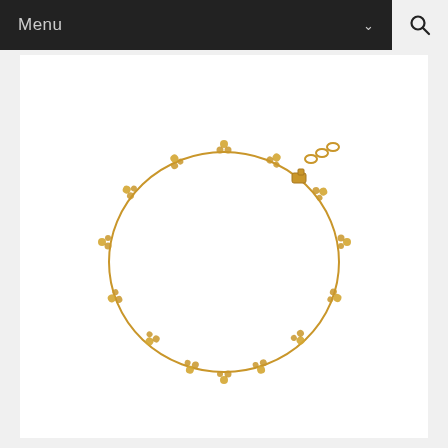Menu
[Figure (photo): A gold chain anklet/bracelet with small dangling charms/beads arranged in a circular shape, with an extender chain and clasp visible at the top. The jewelry is photographed on a white background.]